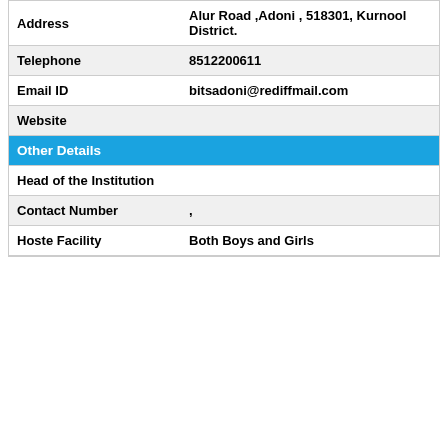| Address | Alur Road ,Adoni , 518301, Kurnool District. |
| Telephone | 8512200611 |
| Email ID | bitsadoni@rediffmail.com |
| Website |  |
| Other Details |  |
| Head of the Institution |  |
| Contact Number | , |
| Hoste Facility | Both Boys and Girls |